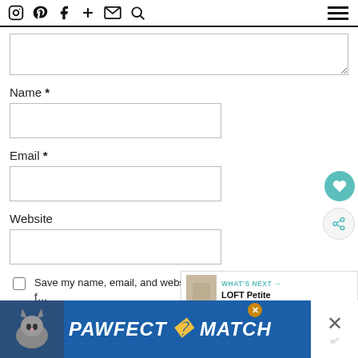Navigation bar with social icons: Instagram, Pinterest, Facebook, Plus, Email, Search, and hamburger menu
Name *
Email *
Website
Save my name, email, and website in this browser f… comment.
Sign me up for newsletter updates!
[Figure (screenshot): WHAT'S NEXT panel showing LOFT Petite Butterfly Pri... with thumbnail image]
[Figure (advertisement): PAWFECT MATCH advertisement banner with cat image on blue background]